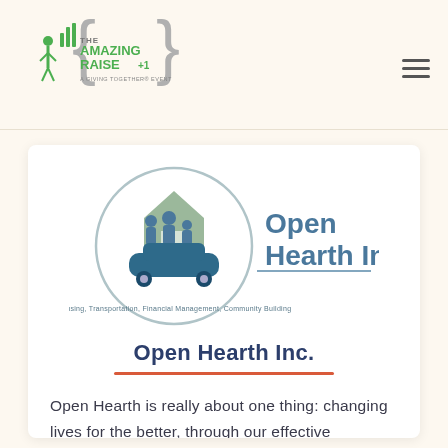[Figure (logo): The Amazing Raise +1 logo — green and grey stylized people figures with curly brace and text 'THE AMAZING RAISE +1']
[Figure (logo): Open Hearth Inc. logo — circular emblem with house, family figures, and car icons; tagline: Housing, Transportation, Financial Management, Community Building]
Open Hearth Inc.
Open Hearth is really about one thing: changing lives for the better, through our effective programs, services and partnerships. Our work includes helping people end the cycle of homelessness and...